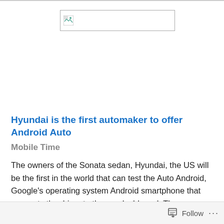[Figure (other): Broken/placeholder image thumbnail with small icon]
Hyundai is the first automaker to offer Android Auto
Mobile Time
The owners of the Sonata sedan, Hyundai, the US will be the first in the world that can test the Auto Android, Google's operating system Android smartphone that connects the driver to the car dashboard. The announcement was made by the automaker on Wednesday, 26: the novelty is available for those who
Follow ...